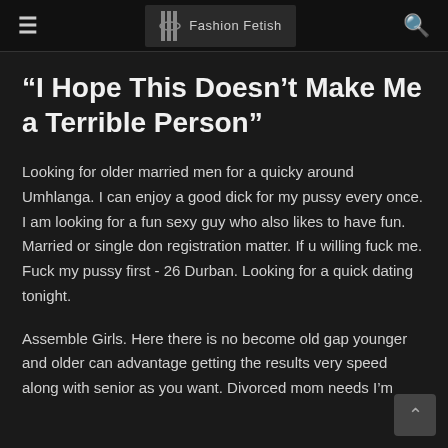Fashion Fetish
“I Hope This Doesn’t Make Me a Terrible Person”
Looking for older married men for a quicky around Umhlanga. I can enjoy a good dick for my pussy every once. I am looking for a fun sexy guy who also likes to have fun. Married or single don registration matter. If u willing fuck me. Fuck my pussy first - 26 Durban. Looking for a quick dating tonight.
Assemble Girls. Here there is no become old gap younger and older can advantage getting the results very speed along with senior as you want. Divorced mom needs I’m